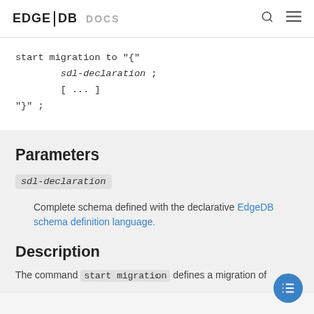EDGE DB DOCS
Parameters
sdl-declaration
Complete schema defined with the declarative EdgeDB schema definition language.
Description
The command start migration defines a migration of